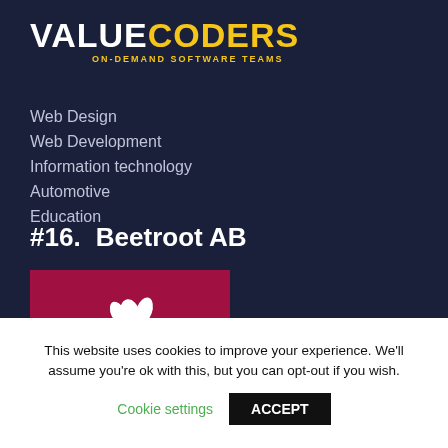[Figure (logo): ValueCoders logo: white bold text VALUE followed by yellow bold text CODERS, subtitle ON-DEMAND SOFTWARE TEAMS in yellow]
Web Design
Web Development
Information technology
Automotive
Education
#16.  Beetroot AB
[Figure (logo): Beetroot AB logo: white beetroot silhouette on dark red/crimson background]
This website uses cookies to improve your experience. We'll assume you're ok with this, but you can opt-out if you wish.
Cookie settings   ACCEPT